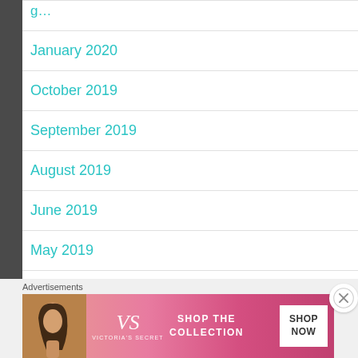January 2020
October 2019
September 2019
August 2019
June 2019
May 2019
April 2019
Advertisements
[Figure (other): Victoria's Secret advertisement banner: model photo on left, VS logo with VICTORIA'S SECRET text, SHOP THE COLLECTION text, SHOP NOW button on white background]